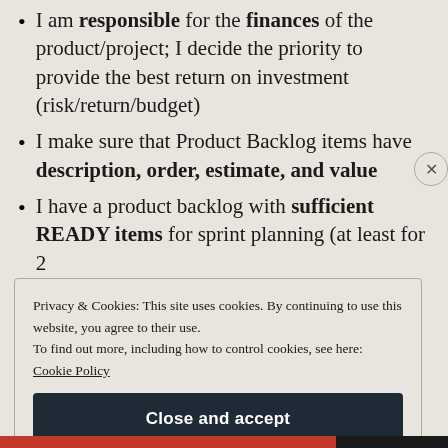I am responsible for the finances of the product/project; I decide the priority to provide the best return on investment (risk/return/budget)
I make sure that Product Backlog items have description, order, estimate, and value
I have a product backlog with sufficient READY items for sprint planning (at least for 2
Privacy & Cookies: This site uses cookies. By continuing to use this website, you agree to their use.
To find out more, including how to control cookies, see here: Cookie Policy
Close and accept